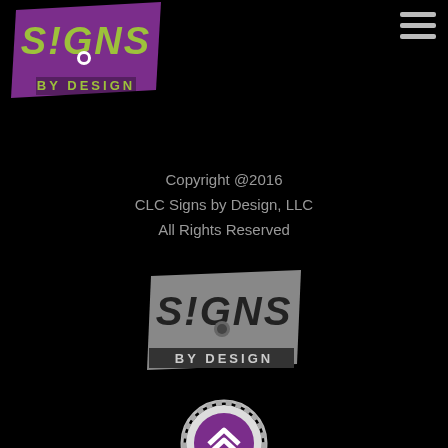[Figure (logo): Signs by Design logo - purple parallelogram shape with green S!GNS text and white circle, BY DESIGN in green below]
[Figure (other): Hamburger menu icon - three horizontal gray lines]
Copyright @2016
CLC Signs by Design, LLC
All Rights Reserved
[Figure (logo): Signs by Design logo in grayscale - gray parallelogram with dark S!GNS text and BY DESIGN below]
[Figure (other): Partially visible circular badge/seal with purple chevron/arrow design, partially cut off at bottom]